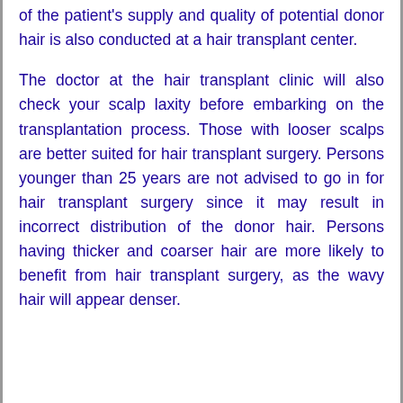of the patient's supply and quality of potential donor hair is also conducted at a hair transplant center.
The doctor at the hair transplant clinic will also check your scalp laxity before embarking on the transplantation process. Those with looser scalps are better suited for hair transplant surgery. Persons younger than 25 years are not advised to go in for hair transplant surgery since it may result in incorrect distribution of the donor hair. Persons having thicker and coarser hair are more likely to benefit from hair transplant surgery, as the wavy hair will appear denser.